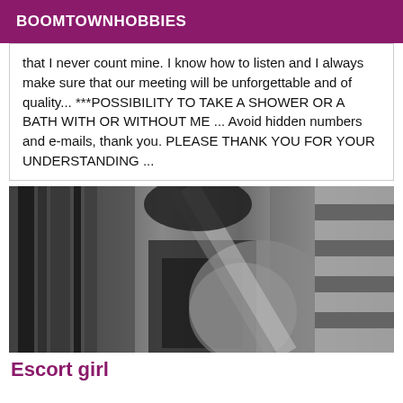BOOMTOWNHOBBIES
that I never count mine. I know how to listen and I always make sure that our meeting will be unforgettable and of quality... ***POSSIBILITY TO TAKE A SHOWER OR A BATH WITH OR WITHOUT ME ... Avoid hidden numbers and e-mails, thank you. PLEASE THANK YOU FOR YOUR UNDERSTANDING ...
[Figure (photo): Black and white close-up photo of a woman in a striped top]
Escort girl